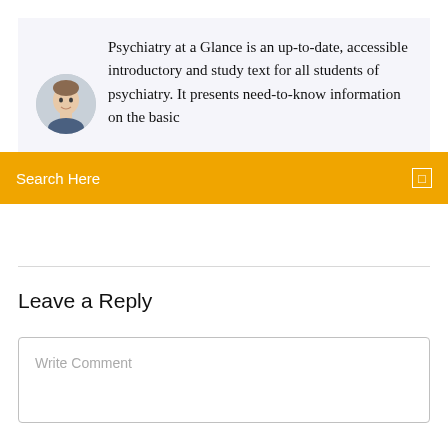Psychiatry at a Glance is an up-to-date, accessible introductory and study text for all students of psychiatry. It presents need-to-know information on the basic
[Figure (photo): Circular avatar photo of a man, partially visible, with light background]
Search Here
Leave a Reply
Write Comment